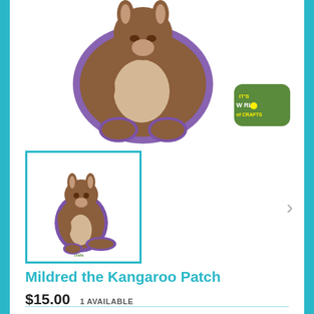[Figure (photo): Large kangaroo embroidered patch with purple border on white background, with a small 'It's a World of Crafts' logo badge in upper right corner]
[Figure (photo): Thumbnail image of the Mildred the Kangaroo Patch - a cartoon sitting kangaroo with purple border outline, shown inside a teal-bordered square]
Mildred the Kangaroo Patch
$15.00  1 AVAILABLE
QUANTITY